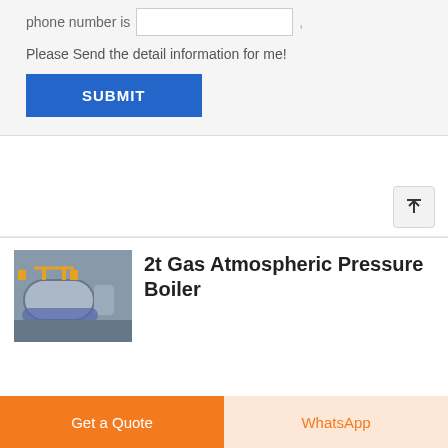phone number is
Please Send the detail information for me!
SUBMIT
[Figure (photo): Industrial gas atmospheric pressure boiler in a factory setting, horizontal cylindrical boiler with yellow pipes and blue fittings]
2t Gas Atmospheric Pressure Boiler
Get a Quote
WhatsApp